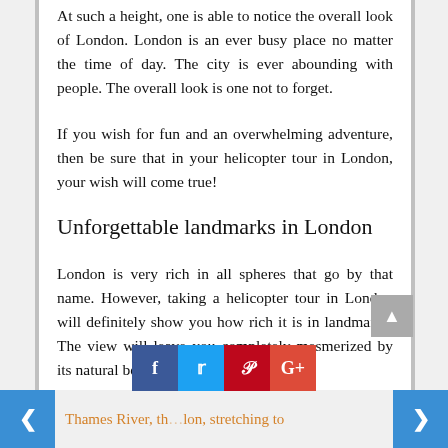At such a height, one is able to notice the overall look of London. London is an ever busy place no matter the time of day. The city is ever abounding with people. The overall look is one not to forget.
If you wish for fun and an overwhelming adventure, then be sure that in your helicopter tour in London, your wish will come true!
Unforgettable landmarks in London
London is very rich in all spheres that go by that name. However, taking a helicopter tour in London will definitely show you how rich it is in landmarks. The view will leave you completely mesmerized by its natural beauty. Speaking of natural;
Thames River, th... lon, stretching to